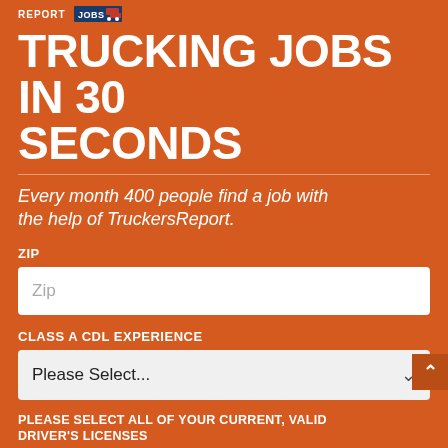REPORT JOBS
TRUCKING JOBS IN 30 SECONDS
Every month 400 people find a job with the help of TruckersReport.
ZIP
Zip
CLASS A CDL EXPERIENCE
Please Select...
PLEASE SELECT ALL OF YOUR CURRENT, VALID DRIVER'S LICENSES
CDL A
CDL B
CDL C